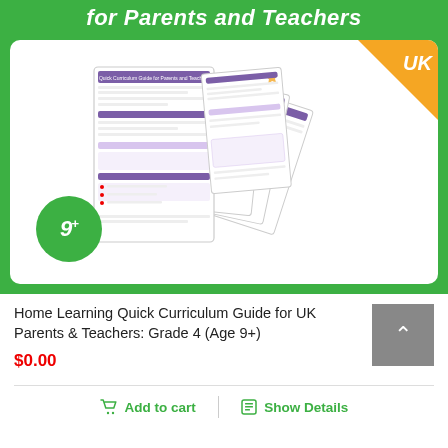for Parents and Teachers
[Figure (illustration): Product thumbnail showing a fan of curriculum guide pages with a UK badge in the top-right corner and a green circle with '9+' in the bottom-left]
Home Learning Quick Curriculum Guide for UK Parents & Teachers: Grade 4 (Age 9+)
$0.00
Add to cart
Show Details